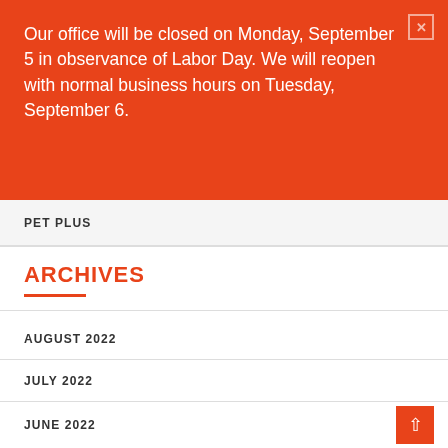Our office will be closed on Monday, September 5 in observance of Labor Day. We will reopen with normal business hours on Tuesday, September 6.
PET PLUS
ARCHIVES
AUGUST 2022
JULY 2022
JUNE 2022